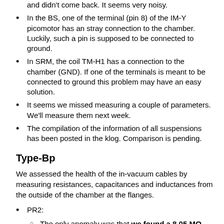and didn't come back. It seems very noisy.
In the BS, one of the terminal (pin 8) of the IM-Y picomotor has an stray connection to the chamber. Luckily, such a pin is supposed to be connected to ground.
In SRM, the coil TM-H1 has a connection to the chamber (GND). If one of the terminals is meant to be connected to ground this problem may have an easy solution.
It seems we missed measuring a couple of parameters. We'll measure them next week.
The compilation of the information of all suspensions has been posted in the klog. Comparison is pending.
Type-Bp
We assessed the health of the in-vacuum cables by measuring resistances, capacitances and inductances from the outside of the chamber at the flanges.
PR2:
The only anomaly was that we found a 8.05 MΩ path between pin 2 and the chamber in the BE picomotor connector (Flange 4